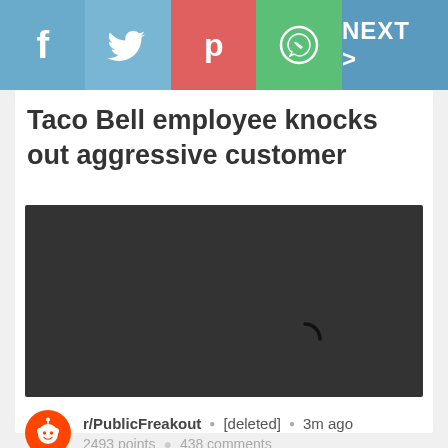f  [twitter]  [pinterest]  [whatsapp]  NEXT >
Taco Bell employee knocks out aggressive customer
[Figure (screenshot): Dark video player area with a loading spinner arc visible in the center-right area, indicating a video is loading]
r/PublicFreakout • [deleted] • 3m ago
2493 points • 438 comments